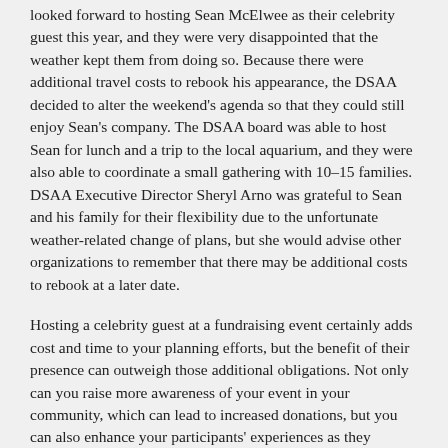looked forward to hosting Sean McElwee as their celebrity guest this year, and they were very disappointed that the weather kept them from doing so. Because there were additional travel costs to rebook his appearance, the DSAA decided to alter the weekend's agenda so that they could still enjoy Sean's company. The DSAA board was able to host Sean for lunch and a trip to the local aquarium, and they were also able to coordinate a small gathering with 10–15 families. DSAA Executive Director Sheryl Arno was grateful to Sean and his family for their flexibility due to the unfortunate weather-related change of plans, but she would advise other organizations to remember that there may be additional costs to rebook at a later date.
Hosting a celebrity guest at a fundraising event certainly adds cost and time to your planning efforts, but the benefit of their presence can outweigh those additional obligations. Not only can you raise more awareness of your event in your community, which can lead to increased donations, but you can also enhance your participants' experiences as they interact with your guests. From what we can tell, these experiences are well worth the extra commitments.